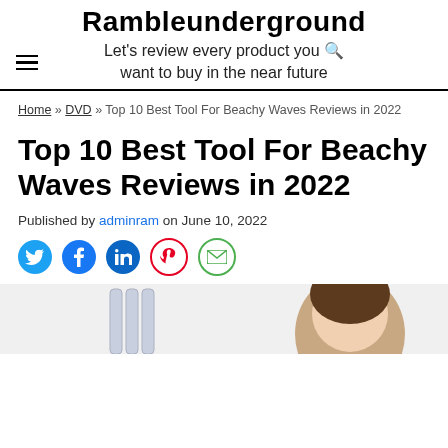Rambleunderground
Let's review every product you want to buy in the near future
Home » DVD » Top 10 Best Tool For Beachy Waves Reviews in 2022
Top 10 Best Tool For Beachy Waves Reviews in 2022
Published by adminram on June 10, 2022
[Figure (screenshot): Social sharing icons: Twitter (blue bird), Facebook (blue f), LinkedIn (blue in), Pinterest (red P), Email (green envelope)]
[Figure (photo): Partial photo showing hair styling tools and a woman with beachy waves hair at the bottom of the page]